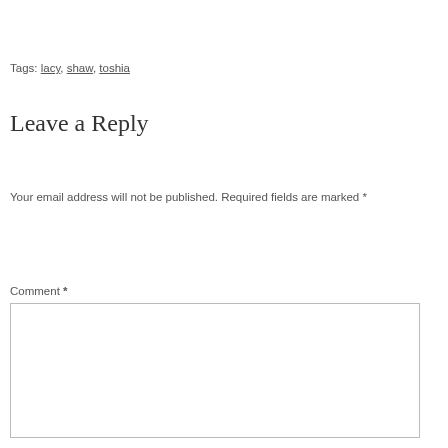Tags: lacy, shaw, toshia
Leave a Reply
Your email address will not be published. Required fields are marked *
Comment *